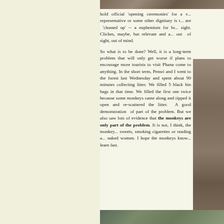[Figure (photo): Top portion of a photograph showing forest/natural scene, partially cut off at top of page]
hold official 'opening ceremonies' for a v... representative or some other dignitary is t... are 'cleaned up' -- a euphemism for br... sight. Cliches, maybe, but relevant and a... out of sight, out of mind.
So what is to be done? Well, it is a long-term problem that will only get worse if plans to encourage more tourists to visit Phana come to anything. In the short term, Pensri and I went to the forest last Wednesday and spent about 90 minutes collecting litter. We filled 5 black bin bags in that time. We filled the first one twice because some monkeys came along and ripped it open and re-scattered the litter. A good demonstration of part of the problem. But we also saw lots of evidence that the monkeys are only part of the problem. It is not, I think, the monkey... sweets, smoking cigarettes or reading a... naked women. I hope the monkeys know... learn fast.
[Figure (photo): Photograph on the right side of page showing forest/bark/natural scene]
[Figure (photo): Bottom portion of a photograph showing forest/natural scene, partially cut off at bottom of page]